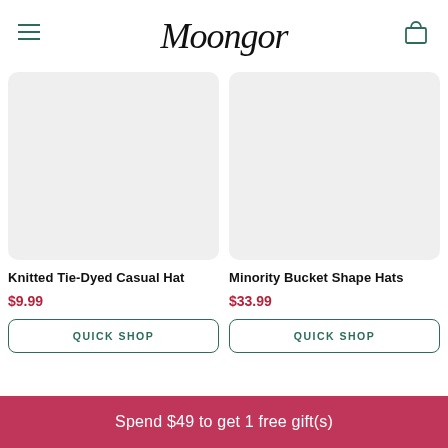Moongor
[Figure (photo): Product image placeholder for Knitted Tie-Dyed Casual Hat (light gray background)]
[Figure (photo): Product image placeholder for Minority Bucket Shape Hats (light gray background)]
Knitted Tie-Dyed Casual Hat
$9.99
QUICK SHOP
Minority Bucket Shape Hats
$33.99
QUICK SHOP
Spend $49 to get 1 free gift(s)